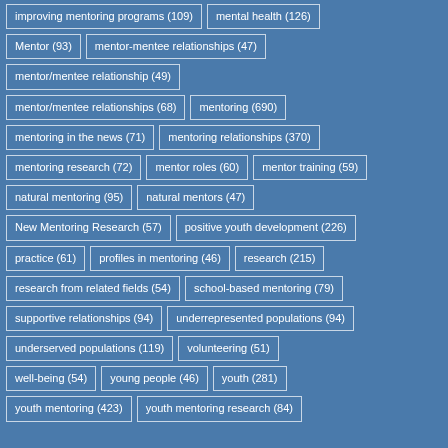[Figure (other): Tag cloud / keyword list with counts showing mentoring-related research topics. Each tag is displayed as a bordered box with white text on blue background. Tags include: improving mentoring programs (109), mental health (126), Mentor (93), mentor-mentee relationships (47), mentor/mentee relationship (49), mentor/mentee relationships (68), mentoring (690), mentoring in the news (71), mentoring relationships (370), mentoring research (72), mentor roles (60), mentor training (59), natural mentoring (95), natural mentors (47), New Mentoring Research (57), positive youth development (226), practice (61), profiles in mentoring (46), research (215), research from related fields (54), school-based mentoring (79), supportive relationships (94), underrepresented populations (94), underserved populations (119), volunteering (51), well-being (54), young people (46), youth (281), youth mentoring (423), youth mentoring research (84).]